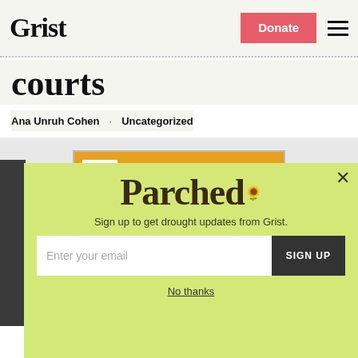Grist | Donate
courts
Ana Unruh Cohen · Uncategorized
[Figure (photo): Southern Environmental Law Center (SELC) image with orange header bar showing SELC logo and text, and a photo below showing people and a white truck outdoors]
[Figure (screenshot): Parched newsletter signup popup with yellow-green background, Parched logo, email signup form with 'Enter your email' placeholder and 'SIGN UP' button, and 'No thanks' link]
Sign up to get drought updates from Grist.
Enter your email
SIGN UP
No thanks